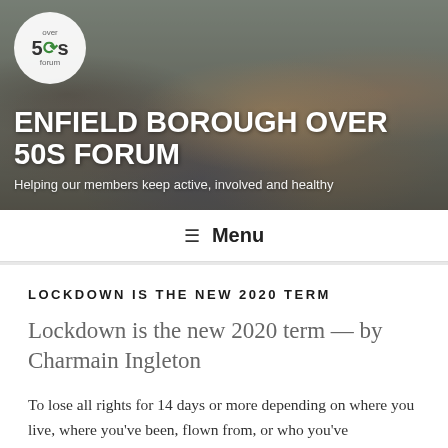[Figure (photo): Hero banner photo of a group of people with arms raised, appearing at a community event. A circular logo for 'Over 50s Forum' overlays the top-left. White bold text reads 'ENFIELD BOROUGH OVER 50S FORUM' with subtitle 'Helping our members keep active, involved and healthy'.]
≡  Menu
LOCKDOWN IS THE NEW 2020 TERM
Lockdown is the new 2020 term — by Charmain Ingleton
To lose all rights for 14 days or more depending on where you live, where you've been, flown from, or who you've